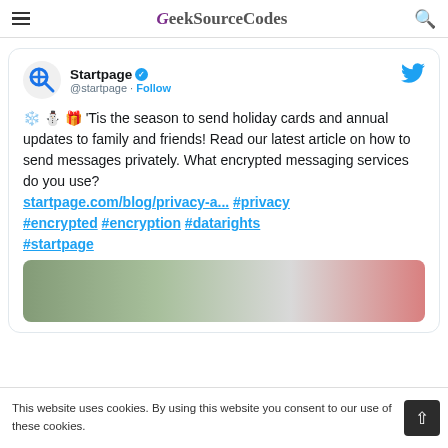GeekSourceCodes
[Figure (screenshot): Embedded tweet from @startpage showing holiday message about private messaging with hashtags: #privacy #encrypted #encryption #datarights #startpage]
This website uses cookies. By using this website you consent to our use of these cookies.